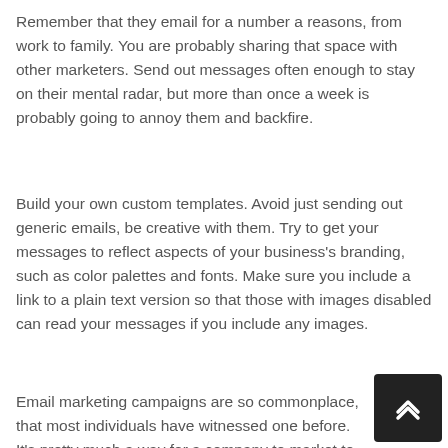Remember that they email for a number a reasons, from work to family. You are probably sharing that space with other marketers. Send out messages often enough to stay on their mental radar, but more than once a week is probably going to annoy them and backfire.
Build your own custom templates. Avoid just sending out generic emails, be creative with them. Try to get your messages to reflect aspects of your business's branding, such as color palettes and fonts. Make sure you include a link to a plain text version so that those with images disabled can read your messages if you include any images.
Email marketing campaigns are so commonplace, that most individuals have witnessed one before. It's pretty much a way for a company to market to its customers using email messages. Use this technique correctly to establish a good relationship with customers and get their interest.
[Figure (other): Scroll-to-top button overlay in dark background with upward chevron arrow icon]